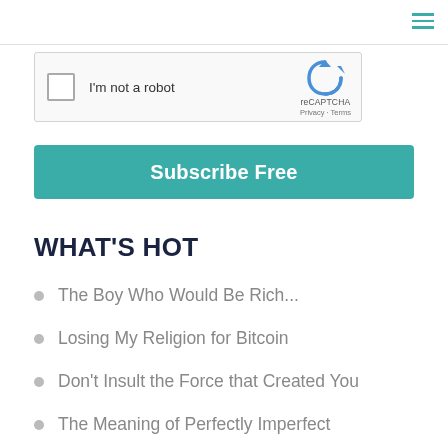[Figure (screenshot): reCAPTCHA widget with checkbox labeled 'I'm not a robot' and Google reCAPTCHA logo with Privacy and Terms links]
Subscribe Free
WHAT'S HOT
The Boy Who Would Be Rich...
Losing My Religion for Bitcoin
Don't Insult the Force that Created You
The Meaning of Perfectly Imperfect